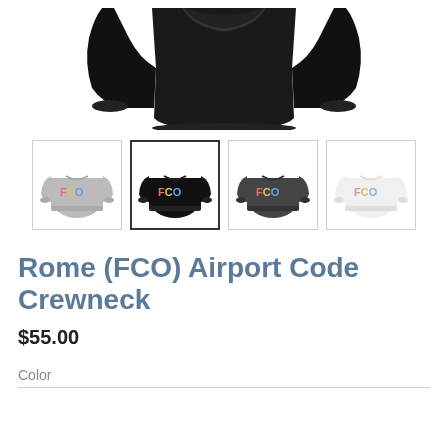[Figure (photo): Top portion of a black FCO crewneck sweatshirt showing the upper torso and sleeves]
[Figure (photo): Four thumbnail variants of the FCO Airport Code Crewneck sweatshirt: gray, black (selected with border), dark gray, and white]
Rome (FCO) Airport Code Crewneck
$55.00
Color